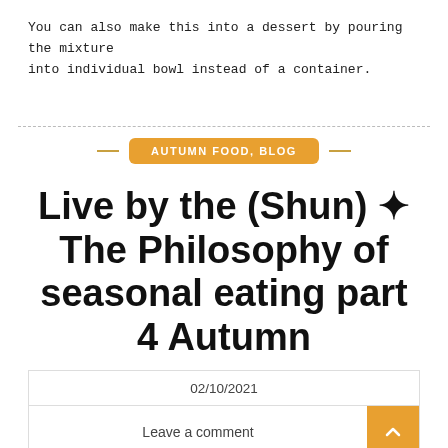You can also make this into a dessert by pouring the mixture into individual bowl instead of a container.
AUTUMN FOOD, BLOG
Live by the (Shun) ✦ The Philosophy of seasonal eating part 4 Autumn
02/10/2021
Leave a comment